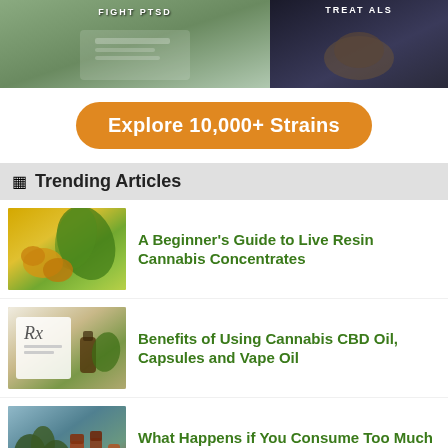[Figure (photo): Two promotional article thumbnails at top: left shows person writing on clipboard (FIGHT PTSD article), right shows elderly person's hands (TREAT ALS article)]
Explore 10,000+ Strains
Trending Articles
A Beginner's Guide to Live Resin Cannabis Concentrates
Benefits of Using Cannabis CBD Oil, Capsules and Vape Oil
What Happens if You Consume Too Much Cannabis?
Top 10 THC and CBD Cannabis Strains